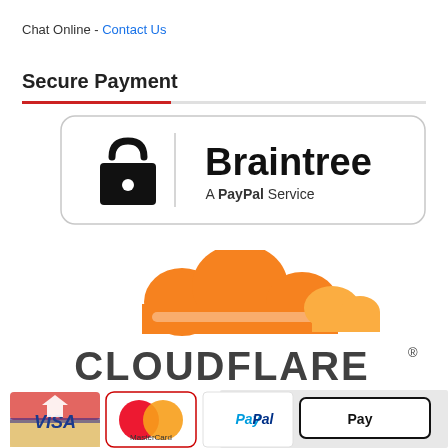Chat Online - Contact Us
Secure Payment
[Figure (logo): Braintree A PayPal Service logo with padlock icon inside a rounded rectangle border]
[Figure (logo): Cloudflare logo with orange cloud icon and CLOUDFLARE text]
[Figure (logo): Payment method logos: Visa, MasterCard, PayPal, Apple Pay with a Filter button overlay]